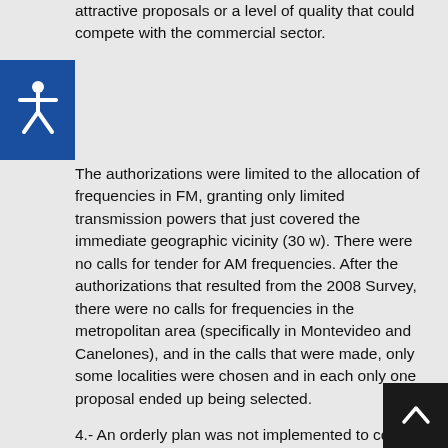attractive proposals or a level of quality that could compete with the commercial sector.
The authorizations were limited to the allocation of frequencies in FM, granting only limited transmission powers that just covered the immediate geographic vicinity (30 w). There were no calls for tender for AM frequencies. After the authorizations that resulted from the 2008 Survey, there were no calls for frequencies in the metropolitan area (specifically in Montevideo and Canelones), and in the calls that were made, only some localities were chosen and in each only one proposal ended up being selected.
4.- An orderly plan was not implemented to conduct an open and public competition, which in principle should be carried out at least twice a year, and neither were competitions opened in response to requests from interested parties.